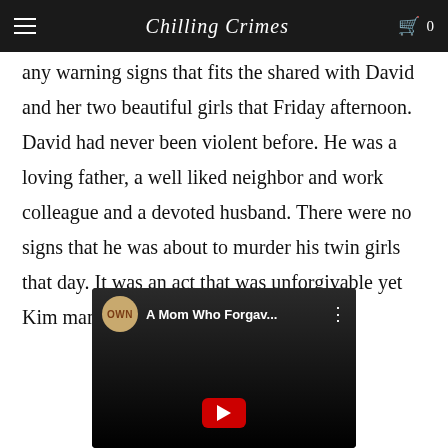Chilling Crimes
any warning signs that fits the shared with David and her two beautiful girls that Friday afternoon. David had never been violent before. He was a loving father, a well liked neighbor and work colleague and a devoted husband. There were no signs that he was about to murder his twin girls that day. It was an act that was unforgivable yet Kim managed to forgive David.
[Figure (screenshot): OWN YouTube video thumbnail titled 'A Mom Who Forgav...' with OWN logo badge and red play button, dark background showing a person]